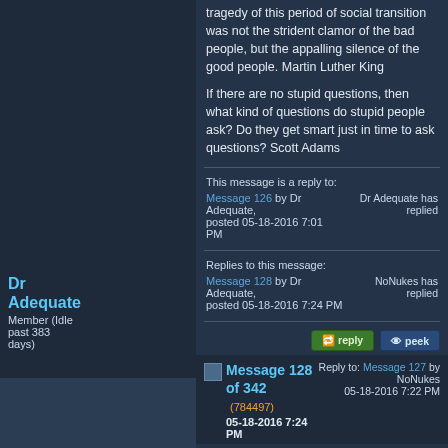tragedy of this period of social transition was not the strident clamor of the bad people, but the appalling silence of the good people. Martin Luther King
If there are no stupid questions, then what kind of questions do stupid people ask? Do they get smart just in time to ask questions? Scott Adams
This message is a reply to:
Message 126 by Dr Adequate, posted 05-18-2016 7:01 PM
Dr Adequate has replied
Replies to this message:
Message 128 by Dr Adequate, posted 05-18-2016 7:24 PM
NoNukes has replied
Message 128 of 342 (784497) 05-18-2016 7:24 PM
Reply to: Message 127 by NoNukes 05-18-2016 7:22 PM
So why is the case of explaining 'the universe' different? I agree in principle
Dr Adequate Member (Idle past 383 days)